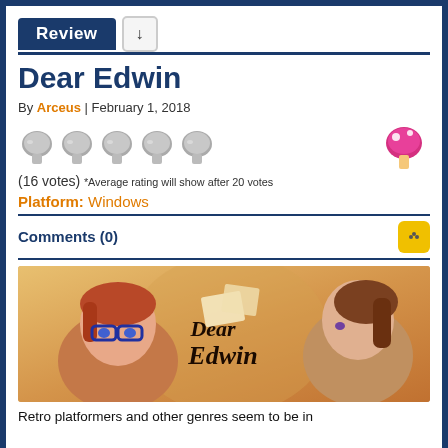Review
Dear Edwin
By Arceus | February 1, 2018
[Figure (illustration): Five grey mushroom rating icons and one pink/red mushroom icon on the right]
(16 votes) *Average rating will show after 20 votes
Platform: Windows
Comments (0)
[Figure (illustration): Dear Edwin game banner showing two illustrated characters and the title 'Dear Edwin' in stylized text on a warm sepia/orange background]
Retro platformers and other genres seem to be in